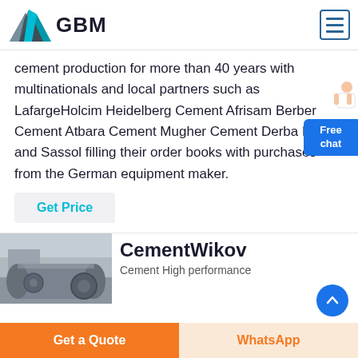GBM
cement production for more than 40 years with multinationals and local partners such as LafargeHolcim Heidelberg Cement Afrisam Berber Cement Atbara Cement Mugher Cement Derba Midroc and Sassol filling their order books with purchases from the German equipment maker.
Get Price
[Figure (photo): Industrial machinery, ball mill or similar cement equipment]
CementWikov
Cement High performance
Get a Quote
WhatsApp